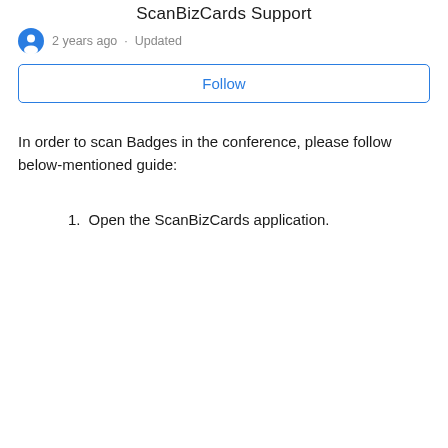ScanBizCards Support
2 years ago · Updated
Follow
In order to scan Badges in the conference, please follow below-mentioned guide:
1. Open the ScanBizCards application.